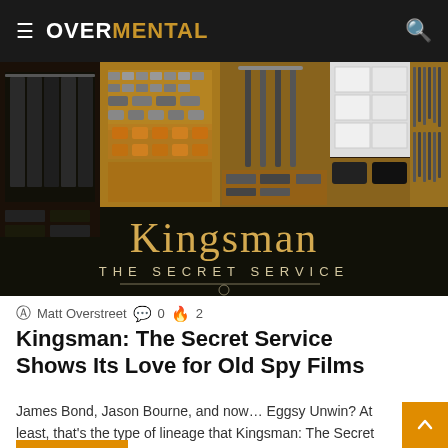OVERMENTAL
[Figure (photo): Kingsman: The Secret Service movie promotional image showing a spy gear closet with suits, weapons, gadgets, and shoes arranged in compartments, with the movie title 'Kingsman The Secret Service' displayed over a dark lower portion]
Matt Overstreet  0  2
Kingsman: The Secret Service Shows Its Love for Old Spy Films
James Bond, Jason Bourne, and now… Eggsy Unwin? At least, that's the type of lineage that Kingsman: The Secret Service…